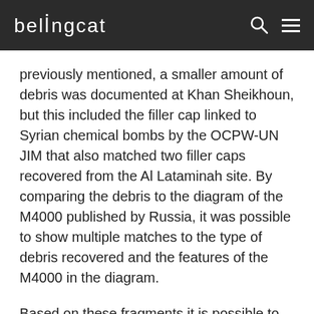bellingcat
previously mentioned, a smaller amount of debris was documented at Khan Sheikhoun, but this included the filler cap linked to Syrian chemical bombs by the OCPW-UN JIM that also matched two filler caps recovered from the Al Lataminah site. By comparing the debris to the diagram of the M4000 published by Russia, it was possible to show multiple matches to the type of debris recovered and the features of the M4000 in the diagram.
Based on these fragments it is possible to confirm that the debris matches the features of the bomb visible in the April 2013 video, confirming the